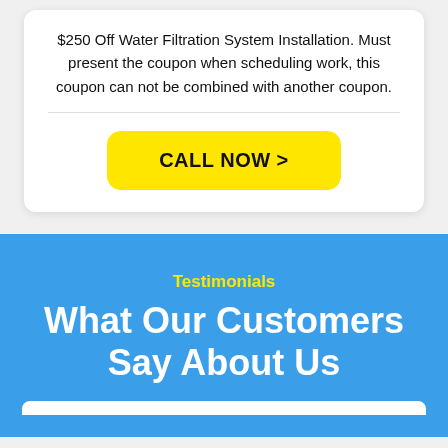$250 Off Water Filtration System Installation. Must present the coupon when scheduling work, this coupon can not be combined with another coupon.
CALL NOW >
Testimonials
What Our Customers Say About Us